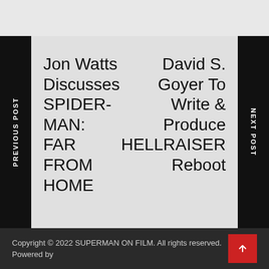Jon Watts Discusses SPIDER-MAN: FAR FROM HOME
David S. Goyer To Write & Produce HELLRAISER Reboot
PREVIOUS POST
NEXT POST
Copyright © 2022 SUPERMAN ON FILM. All rights reserved.
Powered by